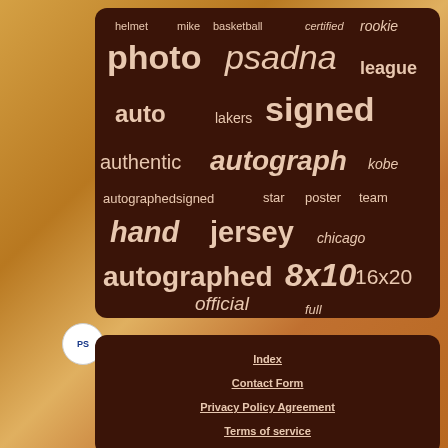[Figure (infographic): Word cloud on dark brown rounded rectangle background showing sports memorabilia related terms in varying sizes and styles. Words include: helmet, mike, basketball, certified, rookie, photo, psadna, league, auto, lakers, signed, authentic, autograph, kobe, autographedsigned, star, poster, team, hand, jersey, chicago, autographed, 8x10, 16x20, official, full]
Index
Contact Form
Privacy Policy Agreement
Terms of service